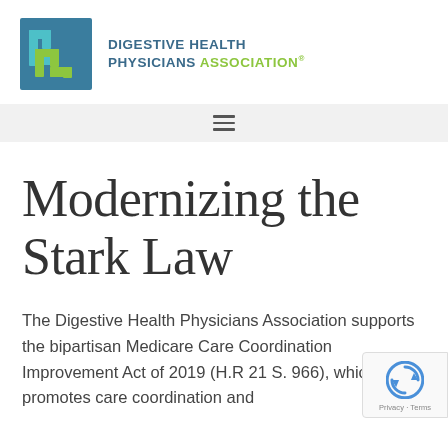[Figure (logo): Digestive Health Physicians Association logo — teal/green square icon with 'dhp' letterforms and bold text name beside it]
≡
Modernizing the Stark Law
The Digestive Health Physicians Association supports the bipartisan Medicare Care Coordination Improvement Act of 2019 (H.R 21 S. 966), which promotes care coordination and